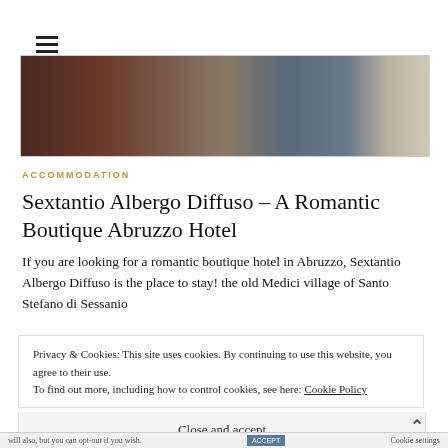[Figure (photo): Partial view of a hotel room interior showing dark wood furniture, a patterned blue/grey textile or wallpaper, and a white fabric]
ACCOMMODATION
Sextantio Albergo Diffuso – A Romantic Boutique Abruzzo Hotel
If you are looking for a romantic boutique hotel in Abruzzo, Sextantio Albergo Diffuso is the place to stay! the old Medici village of Santo Stefano di Sessanio
Privacy & Cookies: This site uses cookies. By continuing to use this website, you agree to their use.
To find out more, including how to control cookies, see here: Cookie Policy
Close and accept